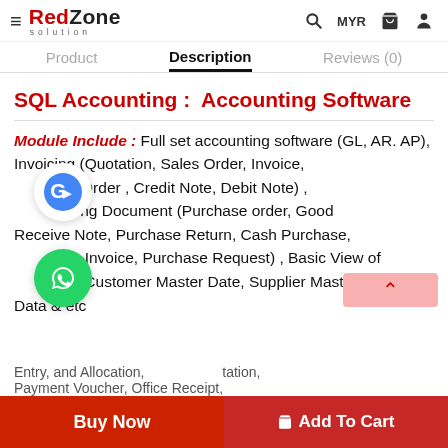≡ RedZone Solution | MYR 🛒 👤
Product | Description | Reviews (0)
SQL Accounting :  Accounting Software
Module Include : Full set accounting software (GL, AR. AP), Invoicing (Quotation, Sales Order, Invoice, Delivery Order , Credit Note, Debit Note) , Purchasing Document (Purchase order, Good Receive Note, Purchase Return, Cash Purchase, Purchase Invoice, Purchase Request) , Basic View of Inventory, Customer Master Date, Supplier Master Data & etc
Entry, and Allocation, Payment Voucher, Office Receipt,